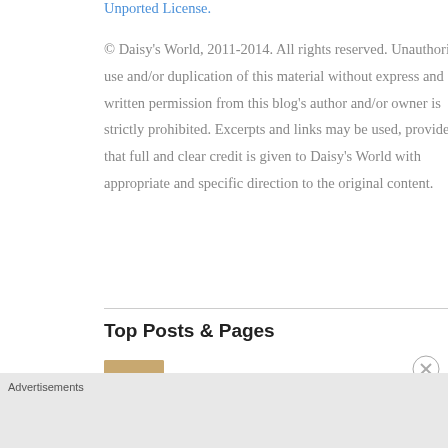Unported License.
© Daisy's World, 2011-2014. All rights reserved. Unauthorized use and/or duplication of this material without express and written permission from this blog's author and/or owner is strictly prohibited. Excerpts and links may be used, provided that full and clear credit is given to Daisy's World with appropriate and specific direction to the original content.
Top Posts & Pages
condensed milk pound cake
Advertisements